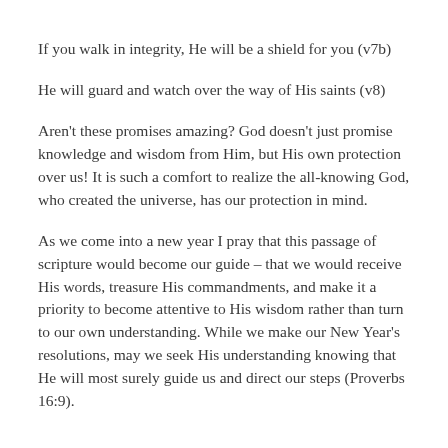If you walk in integrity, He will be a shield for you (v7b)
He will guard and watch over the way of His saints (v8)
Aren't these promises amazing? God doesn't just promise knowledge and wisdom from Him, but His own protection over us! It is such a comfort to realize the all-knowing God, who created the universe, has our protection in mind.
As we come into a new year I pray that this passage of scripture would become our guide – that we would receive His words, treasure His commandments, and make it a priority to become attentive to His wisdom rather than turn to our own understanding. While we make our New Year's resolutions, may we seek His understanding knowing that He will most surely guide us and direct our steps (Proverbs 16:9).